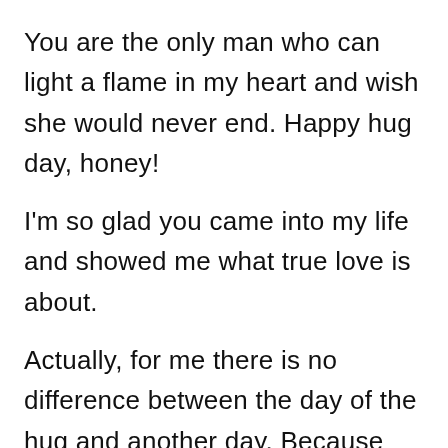You are the only man who can light a flame in my heart and wish she would never end. Happy hug day, honey!

I'm so glad you came into my life and showed me what true love is about.

Actually, for me there is no difference between the day of the hug and another day. Because every day gives me a wonderful opportunity to show how strong my love for you is. I adore you every day of